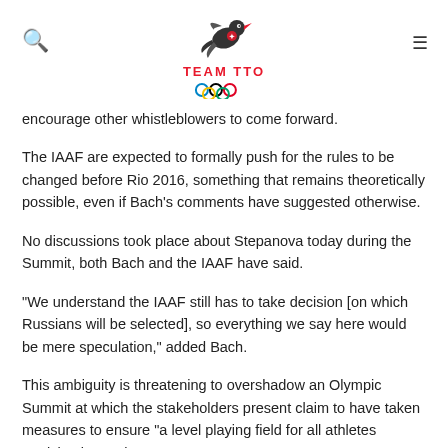Team TTO
encourage other whistleblowers to come forward.
The IAAF are expected to formally push for the rules to be changed before Rio 2016, something that remains theoretically possible, even if Bach's comments have suggested otherwise.
No discussions took place about Stepanova today during the Summit, both Bach and the IAAF have said.
“We understand the IAAF still has to take decision [on which Russians will be selected], so everything we say here would be mere speculation,” added Bach.
This ambiguity is threatening to overshadow an Olympic Summit at which the stakeholders present claim to have taken measures to ensure “a level playing field for all athletes participating at the